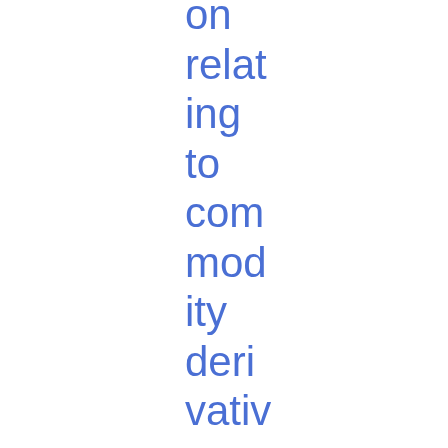on relating to commodity derivatives markets or related spot markets for the purpose of